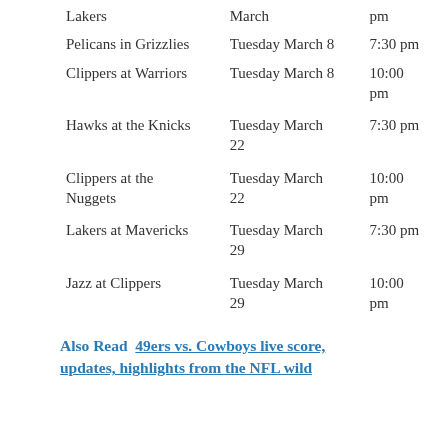| Game | Date | Time |
| --- | --- | --- |
| Lakers | March | pm |
| Pelicans in Grizzlies | Tuesday March 8 | 7:30 pm |
| Clippers at Warriors | Tuesday March 8 | 10:00 pm |
| Hawks at the Knicks | Tuesday March 22 | 7:30 pm |
| Clippers at the Nuggets | Tuesday March 22 | 10:00 pm |
| Lakers at Mavericks | Tuesday March 29 | 7:30 pm |
| Jazz at Clippers | Tuesday March 29 | 10:00 pm |
Also Read  49ers vs. Cowboys live score, updates, highlights from the NFL wild